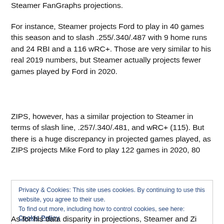Steamer FanGraphs projections.
For instance, Steamer projects Ford to play in 40 games this season and to slash .255/.340/.487 with 9 home runs and 24 RBI and a 116 wRC+. Those are very similar to his real 2019 numbers, but Steamer actually projects fewer games played by Ford in 2020.
ZIPS, however, has a similar projection to Steamer in terms of slash line, .257/.340/.481, and wRC+ (115). But there is a huge discrepancy in projected games played, as ZIPS projects Mike Ford to play 122 games in 2020, 80
Privacy & Cookies: This site uses cookies. By continuing to use this website, you agree to their use.
To find out more, including how to control cookies, see here: Cookie Policy
Close and accept
As for his data disparity in projections, Steamer and Zi